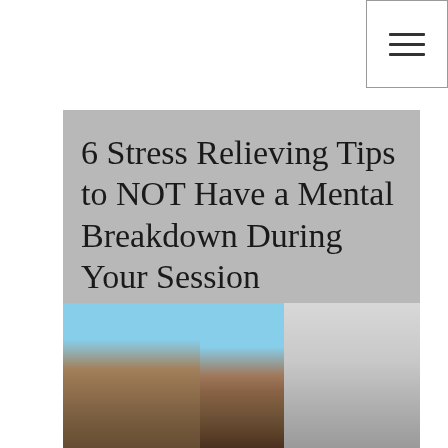[Figure (other): Navigation menu hamburger button in top-right corner with three horizontal lines]
6 Stress Relieving Tips to NOT Have a Mental Breakdown During Your Session
[Figure (photo): Outdoor desert scene showing camels and riders against a blue sky on the left panel and a grey hazy sky on the right panel]